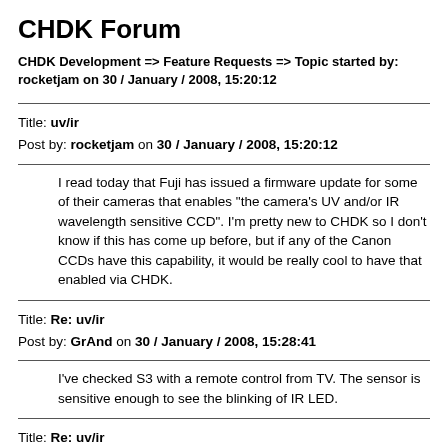CHDK Forum
CHDK Development => Feature Requests => Topic started by: rocketjam on 30 / January / 2008, 15:20:12
Title: uv/ir
Post by: rocketjam on 30 / January / 2008, 15:20:12
I read today that Fuji has issued a firmware update for some of their cameras that enables "the camera's UV and/or IR wavelength sensitive CCD". I'm pretty new to CHDK so I don't know if this has come up before, but if any of the Canon CCDs have this capability, it would be really cool to have that enabled via CHDK.
Title: Re: uv/ir
Post by: GrAnd on 30 / January / 2008, 15:28:41
I've checked S3 with a remote control from TV. The sensor is sensitive enough to see the blinking of IR LED.
Title: Re: uv/ir
Post by: carlos on 31 / January / 2008, 11:38:06
Quote from: GrAnd on 30 / January / 2008, 15:28:41